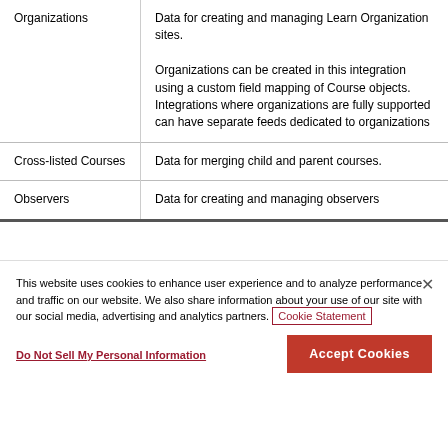|  |  |
| --- | --- |
| Organizations | Data for creating and managing Learn Organization sites.

Organizations can be created in this integration using a custom field mapping of Course objects. Integrations where organizations are fully supported can have separate feeds dedicated to organizations |
| Cross-listed Courses | Data for merging child and parent courses. |
| Observers | Data for creating and managing observers |
This website uses cookies to enhance user experience and to analyze performance and traffic on our website. We also share information about your use of our site with our social media, advertising and analytics partners. Cookie Statement
Do Not Sell My Personal Information
Accept Cookies